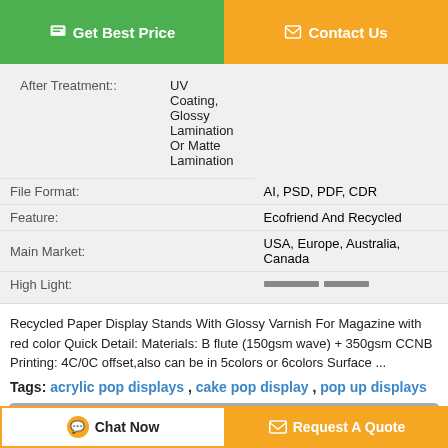[Figure (screenshot): Top navigation buttons: green 'Get Best Price' button and orange 'Contact Us' button]
| After Treatment:: | UV Coating, Glossy Lamination Or Matte Lamination |
| File Format: | AI, PSD, PDF, CDR |
| Feature: | Ecofriend And Recycled |
| Main Market: | USA, Europe, Australia, Canada |
| High Light: | [small text tags] |
Recycled Paper Display Stands With Glossy Varnish For Magazine with red color Quick Detail: Materials: B flute (150gsm wave) + 350gsm CCNB Printing: 4C/0C offset,also can be in 5colors or 6colors Surface ...
Tags: acrylic pop displays , cake pop display , pop up displays
Product Description >
Get the Best Price for
Recycled Paper Display Stands
[Figure (screenshot): Bottom buttons: Chat Now and Request A Quote]